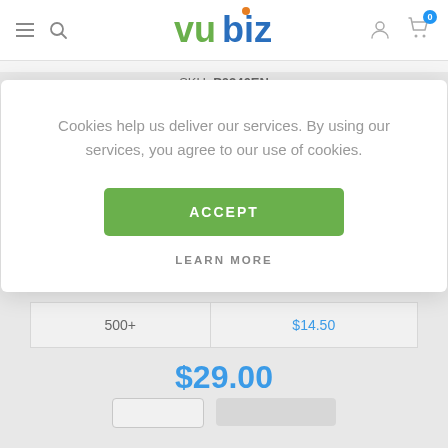[Figure (logo): Vubiz logo with green 'vu' and blue 'biz' text and orange dot above the 'i']
SKU: P0346EN
Cookies help us deliver our services. By using our services, you agree to our use of cookies.
ACCEPT
LEARN MORE
| 500+ | $14.50 |
$29.00